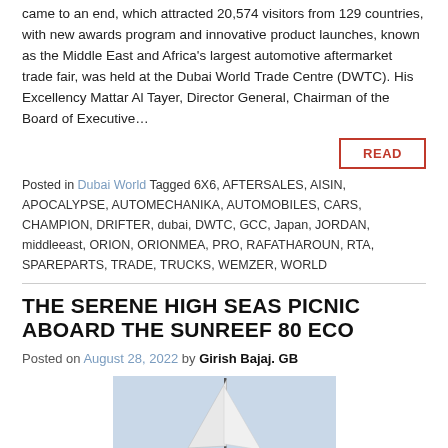came to an end, which attracted 20,574 visitors from 129 countries, with new awards program and innovative product launches, known as the Middle East and Africa's largest automotive aftermarket trade fair, was held at the Dubai World Trade Centre (DWTC). His Excellency Mattar Al Tayer, Director General, Chairman of the Board of Executive…
READ
Posted in Dubai World Tagged 6X6, AFTERSALES, AISIN, APOCALYPSE, AUTOMECHANIKA, AUTOMOBILES, CARS, CHAMPION, DRIFTER, dubai, DWTC, GCC, Japan, JORDAN, middleeast, ORION, ORIONMEA, PRO, RAFATHAROUN, RTA, SPAREPARTS, TRADE, TRUCKS, WEMZER, WORLD
THE SERENE HIGH SEAS PICNIC ABOARD THE SUNREEF 80 ECO
Posted on August 28, 2022 by Girish Bajaj. GB
[Figure (photo): A tall sailing yacht mast and sail against a light sky background]